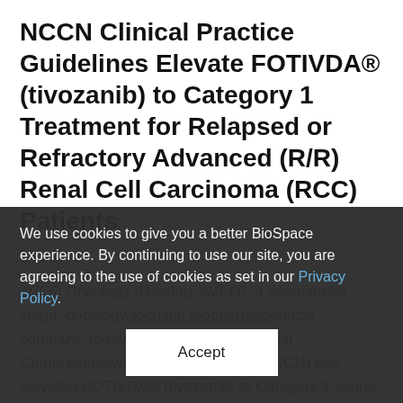NCCN Clinical Practice Guidelines Elevate FOTIVDA® (tivozanib) to Category 1 Treatment for Relapsed or Refractory Advanced (R/R) Renal Cell Carcinoma (RCC) Patients
6/21/2022
AVEO Oncology (Nasdaq: AVEO), a commercial stage, oncology-focused biopharmaceutical company, today announced the National Comprehensive Cancer Network® (NCCN) has elevated FOTIVDA® (tivozanib) to Category 1 status as a subsequent therapy for RCC patients who have
We use cookies to give you a better BioSpace experience. By continuing to use our site, you are agreeing to the use of cookies as set in our Privacy Policy.
Accept